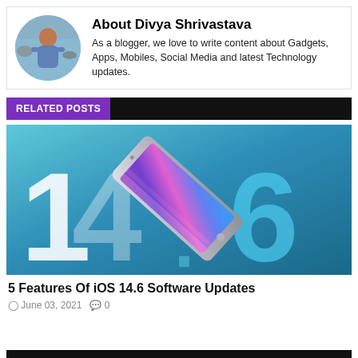[Figure (photo): Circular avatar photo of Divya Shrivastava, a woman standing outdoors near water]
About Divya Shrivastava
As a blogger, we love to write content about Gadgets, Apps, Mobiles, Social Media and latest Technology updates.
RELATED POSTS
[Figure (photo): iOS 14.6 promotional image showing the numbers 14.6 in large text with an iPhone placed diagonally across a teal/blue gradient background]
5 Features Of iOS 14.6 Software Updates
June 03, 2021   0